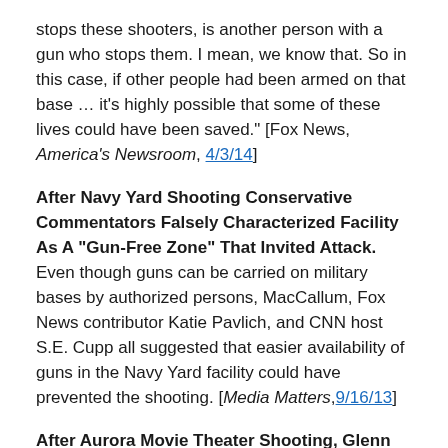stops these shooters, is another person with a gun who stops them. I mean, we know that. So in this case, if other people had been armed on that base … it's highly possible that some of these lives could have been saved." [Fox News, America's Newsroom, 4/3/14]
After Navy Yard Shooting Conservative Commentators Falsely Characterized Facility As A "Gun-Free Zone" That Invited Attack. Even though guns can be carried on military bases by authorized persons, MacCallum, Fox News contributor Katie Pavlich, and CNN host S.E. Cupp all suggested that easier availability of guns in the Navy Yard facility could have prevented the shooting. [Media Matters, 9/16/13]
After Aurora Movie Theater Shooting, Glenn Beck Claimed Shooter "Wouldn't Have Gotten Off More Than Four Shots" If Armed Individuals Present. Talk radio host